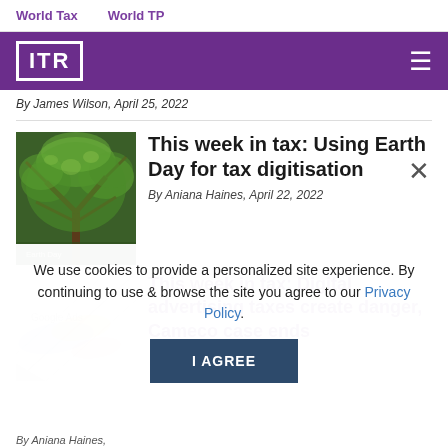World Tax    World TP
[Figure (logo): ITR logo in white on purple background with hamburger menu icon]
By James Wilson, April 25, 2022
[Figure (photo): Green tree canopy viewed from below]
This week in tax: Using Earth Day for tax digitisation
By Aniana Haines, April 22, 2022
[Figure (photo): Partially visible Google Ads logo watermark image]
This week in tax: Digital advertising taxes create danger, Cameco case ends
By Aniana Haines, [date cut off]
We use cookies to provide a personalized site experience. By continuing to use & browse the site you agree to our Privacy Policy.
I AGREE